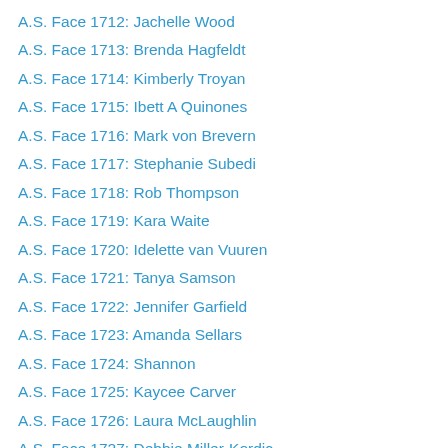A.S. Face 1712: Jachelle Wood
A.S. Face 1713: Brenda Hagfeldt
A.S. Face 1714: Kimberly Troyan
A.S. Face 1715: Ibett A Quinones
A.S. Face 1716: Mark von Brevern
A.S. Face 1717: Stephanie Subedi
A.S. Face 1718: Rob Thompson
A.S. Face 1719: Kara Waite
A.S. Face 1720: Idelette van Vuuren
A.S. Face 1721: Tanya Samson
A.S. Face 1722: Jennifer Garfield
A.S. Face 1723: Amanda Sellars
A.S. Face 1724: Shannon
A.S. Face 1725: Kaycee Carver
A.S. Face 1726: Laura McLaughlin
A.S. Face 1727: Debbie Miller-Kordic
A.S. Face 1728: Carl F. Miller
A.S. Face 1729: Norma Vazquez
A.S. Face 1730: Melissa Simons
A.S. Face 1731: Donna